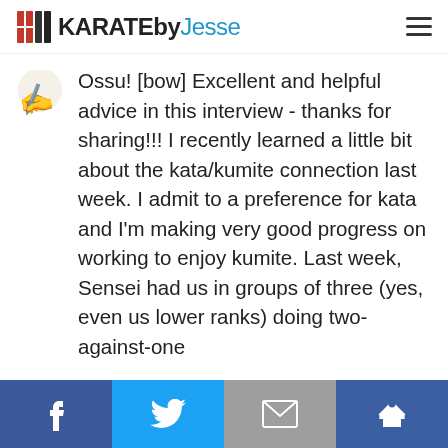KARATEbyJesse
[Figure (illustration): Small avatar image showing a person silhouette or handwritten mark]
Ossu! [bow] Excellent and helpful advice in this interview - thanks for sharing!!! I recently learned a little bit about the kata/kumite connection last week. I admit to a preference for kata and I'm making very good progress on working to enjoy kumite. Last week, Sensei had us in groups of three (yes, even us lower ranks) doing two-against-one
[Figure (infographic): Social share bar with Facebook, Twitter, Email, and Crown (SumoMe) buttons]